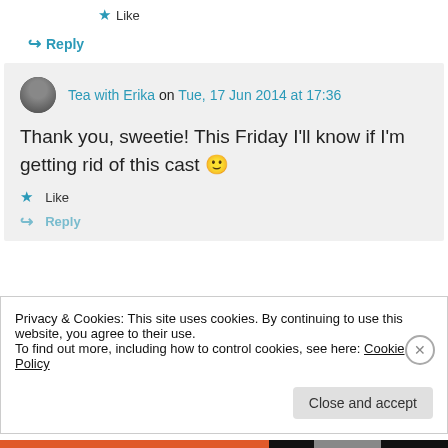Like
↳ Reply
Tea with Erika on Tue, 17 Jun 2014 at 17:36
Thank you, sweetie! This Friday I'll know if I'm getting rid of this cast 🙂
Like
↳ Reply
Privacy & Cookies: This site uses cookies. By continuing to use this website, you agree to their use. To find out more, including how to control cookies, see here: Cookie Policy
Close and accept